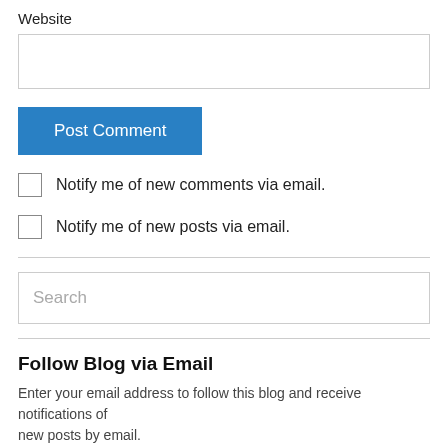Website
[Figure (screenshot): Empty text input box for Website field]
Post Comment
Notify me of new comments via email.
Notify me of new posts via email.
[Figure (screenshot): Search input box with placeholder text 'Search']
Follow Blog via Email
Enter your email address to follow this blog and receive notifications of new posts by email.